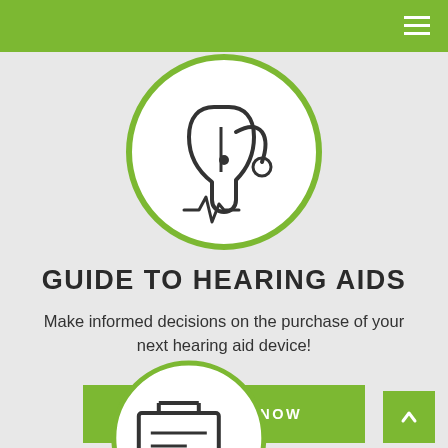[Figure (illustration): Circular icon with green border showing a hearing aid device with a sound wave symbol below it]
GUIDE TO HEARING AIDS
Make informed decisions on the purchase of your next hearing aid device!
DOWNLOAD NOW
[Figure (illustration): Partial circular icon showing a battery/document icon, appearing at the bottom of the page]